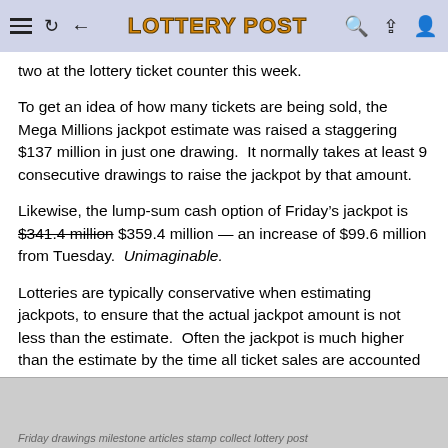LOTTERY POST
two at the lottery ticket counter this week.
To get an idea of how many tickets are being sold, the Mega Millions jackpot estimate was raised a staggering $137 million in just one drawing.  It normally takes at least 9 consecutive drawings to raise the jackpot by that amount.
Likewise, the lump-sum cash option of Friday’s jackpot is $341.4 million $359.4 million — an increase of $99.6 million from Tuesday.  Unimaginable.
Lotteries are typically conservative when estimating jackpots, to ensure that the actual jackpot amount is not less than the estimate.  Often the jackpot is much higher than the estimate by the time all ticket sales are accounted for.
In the case of a world-record lottery jackpot, it’s anyone’s guess how much higher it will go.
Friday drawings milestone articles stamp collect lottery post